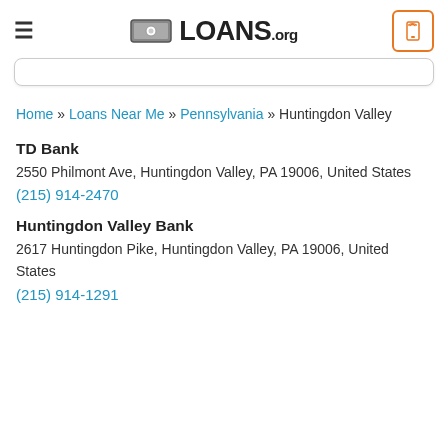LOANS.org
Home » Loans Near Me » Pennsylvania » Huntingdon Valley
TD Bank
2550 Philmont Ave, Huntingdon Valley, PA 19006, United States
(215) 914-2470
Huntingdon Valley Bank
2617 Huntingdon Pike, Huntingdon Valley, PA 19006, United States
(215) 914-1291